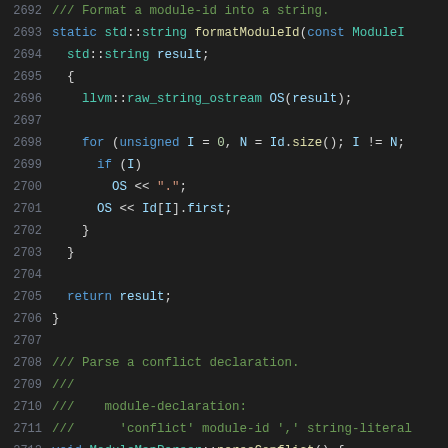[Figure (screenshot): Source code viewer showing C++ code lines 2692-2712, dark theme editor with syntax highlighting. Code implements formatModuleId function and begins parseConflict function in ModuleMapParser.]